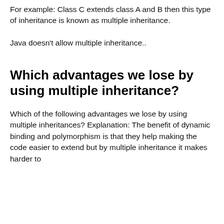For example: Class C extends class A and B then this type of inheritance is known as multiple inheritance.
Java doesn't allow multiple inheritance..
Which advantages we lose by using multiple inheritance?
Which of the following advantages we lose by using multiple inheritances? Explanation: The benefit of dynamic binding and polymorphism is that they help making the code easier to extend but by multiple inheritance it makes harder to